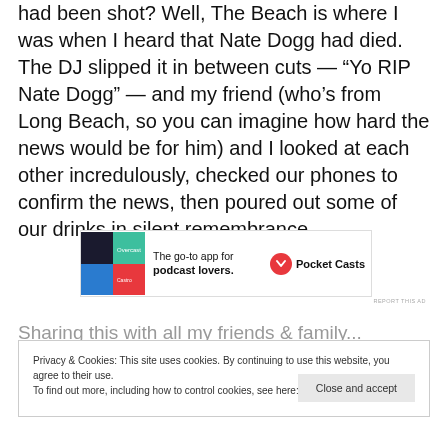had been shot? Well, The Beach is where I was when I heard that Nate Dogg had died. The DJ slipped it in between cuts — “Yo RIP Nate Dogg” — and my friend (who’s from Long Beach, so you can imagine how hard the news would be for him) and I looked at each other incredulously, checked our phones to confirm the news, then poured out some of our drinks in silent remembrance.
[Figure (other): Pocket Casts advertisement banner: 'The go-to app for podcast lovers.' with Pocket Casts logo]
REPORT THIS AD
Privacy & Cookies: This site uses cookies. By continuing to use this website, you agree to their use. To find out more, including how to control cookies, see here: Cookie Policy
Close and accept